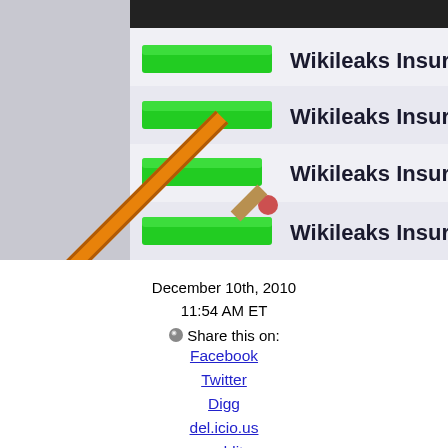[Figure (screenshot): Screenshot of a file listing showing four 'Wikileaks Insurance' files with green progress/status bars next to each entry, and an orange pencil eraser pointing at the list.]
December 10th, 2010
11:54 AM ET
Share this on:
Facebook
Twitter
Digg
del.icio.us
reddit
MySpace
StumbleUpon
Comments (206 comments)